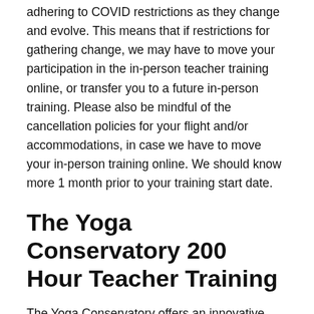adhering to COVID restrictions as they change and evolve. This means that if restrictions for gathering change, we may have to move your participation in the in-person teacher training online, or transfer you to a future in-person training. Please also be mindful of the cancellation policies for your flight and/or accommodations, in case we have to move your in-person training online. We should know more 1 month prior to your training start date.
The Yoga Conservatory 200 Hour Teacher Training
The Yoga Conservatory offers an innovative and non-dogmatic approach to yoga. Their 200-hour Teacher Training program is designed by senior yoga teacher and theatre artist Kate Holly .